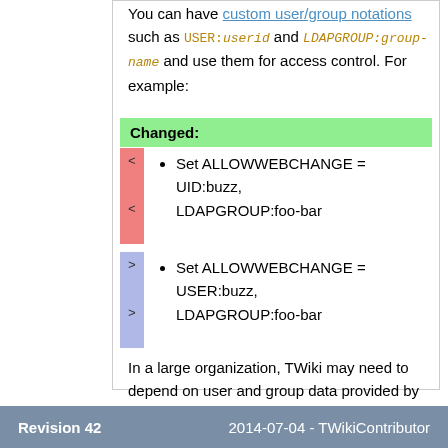You can have custom user/group notations such as USER:userid and LDAPGROUP:group-name and use them for access control. For example:
Changed:
Set ALLOWWEBCHANGE = UID:buzz, LDAPGROUP:foo-bar
Set ALLOWWEBCHANGE = USER:buzz, LDAPGROUP:foo-bar
In a large organization, TWiki may need to depend on user and group data provided by its infrastructure. Custom user/group notations are handy in such situations though it's not trivial to implement.
Revision 42    2014-07-04 - TWikiContributor